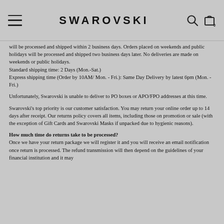SWAROVSKI
will be processed and shipped within 2 business days. Orders placed on weekends and public holidays will be processed and shipped two business days later. No deliveries are made on weekends or public holidays. Standard shipping time: 2 Days (Mon.-Sat.) Express shipping time (Order by 10AM/ Mon. - Fri.): Same Day Delivery by latest 6pm (Mon. - Fri.)
Unfortunately, Swarovski is unable to deliver to PO boxes or APO/FPO addresses at this time.
Swarovski's top priority is our customer satisfaction. You may return your online order up to 14 days after receipt. Our returns policy covers all items, including those on promotion or sale (with the exception of Gift Cards and Swarovski Masks if unpacked due to hygienic reasons).
How much time do returns take to be processed? Once we have your return package we will register it and you will receive an email notification once return is processed. The refund transmission will then depend on the guidelines of your financial institution and it may